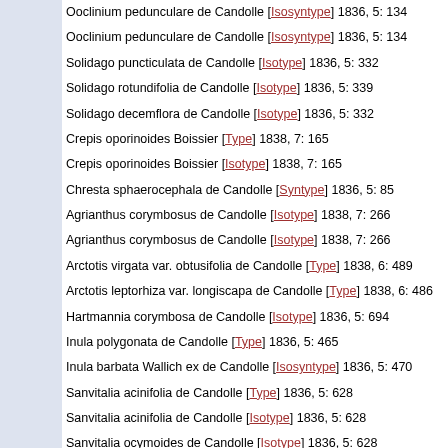Ooclinium pedunculare de Candolle [Isosyntype] 1836, 5: 134
Ooclinium pedunculare de Candolle [Isosyntype] 1836, 5: 134
Solidago puncticulata de Candolle [Isotype] 1836, 5: 332
Solidago rotundifolia de Candolle [Isotype] 1836, 5: 339
Solidago decemflora de Candolle [Isotype] 1836, 5: 332
Crepis oporinoides Boissier [Type] 1838, 7: 165
Crepis oporinoides Boissier [Isotype] 1838, 7: 165
Chresta sphaerocephala de Candolle [Syntype] 1836, 5: 85
Agrianthus corymbosus de Candolle [Isotype] 1838, 7: 266
Agrianthus corymbosus de Candolle [Isotype] 1838, 7: 266
Arctotis virgata var. obtusifolia de Candolle [Type] 1838, 6: 489
Arctotis leptorhiza var. longiscapa de Candolle [Type] 1838, 6: 486
Hartmannia corymbosa de Candolle [Isotype] 1836, 5: 694
Inula polygonata de Candolle [Type] 1836, 5: 465
Inula barbata Wallich ex de Candolle [Isosyntype] 1836, 5: 470
Sanvitalia acinifolia de Candolle [Type] 1836, 5: 628
Sanvitalia acinifolia de Candolle [Isotype] 1836, 5: 628
Sanvitalia ocymoides de Candolle [Isotype] 1836, 5: 628
Sanvitalia tragiafolia de Candolle [Isosyntype] 1836, 5: 628